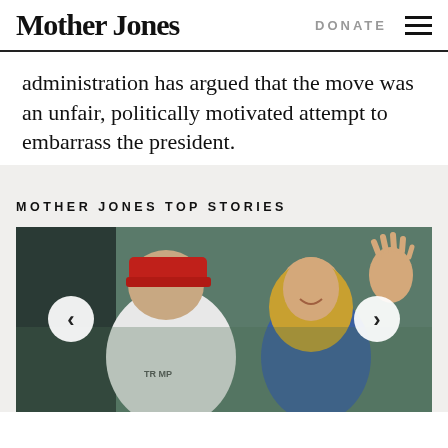Mother Jones | DONATE
administration has argued that the move was an unfair, politically motivated attempt to embarrass the president.
MOTHER JONES TOP STORIES
[Figure (photo): Photo of Donald Trump in a red MAGA cap and white polo shirt pointing, alongside a blonde woman waving, outdoors. Navigation arrows on left and right sides of the carousel.]